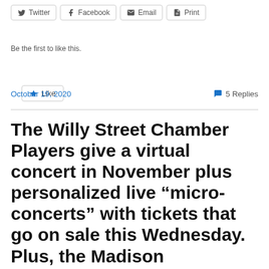Twitter | Facebook | Email | Print
Like
Be the first to like this.
October 19, 2020   💬 5 Replies
The Willy Street Chamber Players give a virtual concert in November plus personalized live “micro-concerts” with tickets that go on sale this Wednesday. Plus, the Madison Symphony Orchestra organ